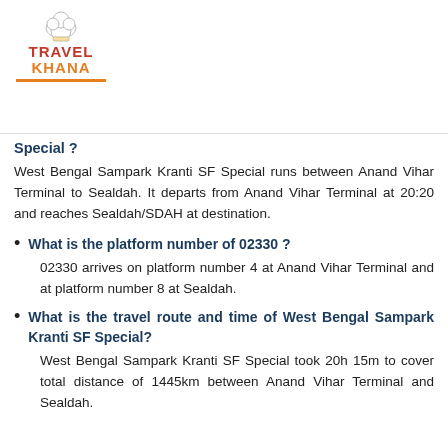[Figure (logo): TravelKhana logo with chef hat icon, TRAVEL in red and KHANA in orange with orange underline]
Special ?
West Bengal Sampark Kranti SF Special runs between Anand Vihar Terminal to Sealdah. It departs from Anand Vihar Terminal at 20:20 and reaches Sealdah/SDAH at destination.
What is the platform number of 02330 ?
02330 arrives on platform number 4 at Anand Vihar Terminal and at platform number 8 at Sealdah.
What is the travel route and time of West Bengal Sampark Kranti SF Special?
West Bengal Sampark Kranti SF Special took 20h 15m to cover total distance of 1445km between Anand Vihar Terminal and Sealdah.